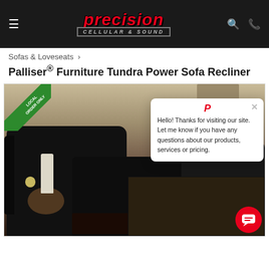Precision Cellular & Sound — navigation header
Sofas & Loveseats ›
Palliser® Furniture Tundra Power Sofa Recliner
[Figure (photo): Product photo of black leather power sofa recliner set in a living room setting, with a LOCAL ORDER ONLY diagonal badge in the top-left corner, and a chat popup overlay on the right side reading: Hello! Thanks for visiting our site. Let me know if you have any questions about our products, services or pricing.]